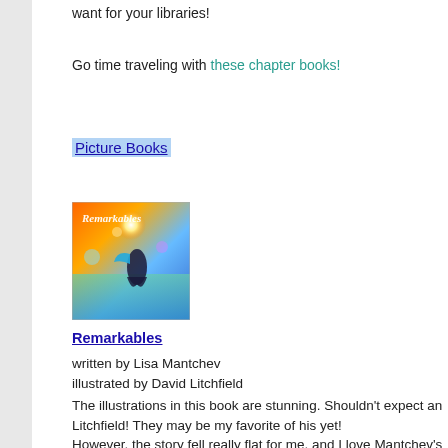want for your libraries!
Go time traveling with these chapter books!
Picture Books
[Figure (photo): Book cover of 'Remarkables' with colorful fantasy illustration of a mermaid-like figure against a vivid sunset background]
Remarkables
written by Lisa Mantchev
illustrated by David Litchfield
The illustrations in this book are stunning.  Shouldn't expect anything less from Litchfield!  They may be my favorite of his yet! However, the story fell really flat for me, and I love Mantchev's work.  The beginning was promising.  The first lines and some subsequent ones made me think it was going to be this really important story about how things work out in their own time and for their own reasons.  And maybe that's the way the story goes but I'm not s